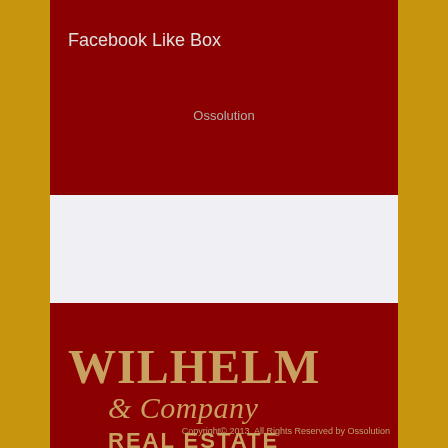Facebook Like Box
Ossolution
[Figure (logo): Wilhelm & Company Real Estate logo with gold serif text on dark red background]
Copyright© 2013. All Rights Reserved by Ossolution